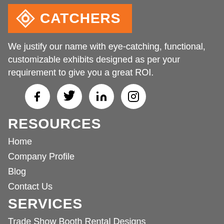[Figure (logo): iCatchers logo: orange banner with eye/diamond icon and white text CATCHERS]
We justify our name with eye-catching, functional, customizable exhibits designed as per your requirement to give you a great ROI.
[Figure (infographic): Social media icons: Facebook, Twitter, LinkedIn, Instagram — white circles on grey background]
RESOURCES
Home
Company Profile
Blog
Contact Us
SERVICES
Trade Show Booth Rental Designs
Custom Trade Show Booth